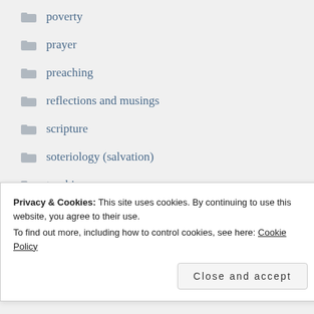poverty
prayer
preaching
reflections and musings
scripture
soteriology (salvation)
teaching
theological learning
trinity
Privacy & Cookies: This site uses cookies. By continuing to use this website, you agree to their use.
To find out more, including how to control cookies, see here: Cookie Policy
Close and accept